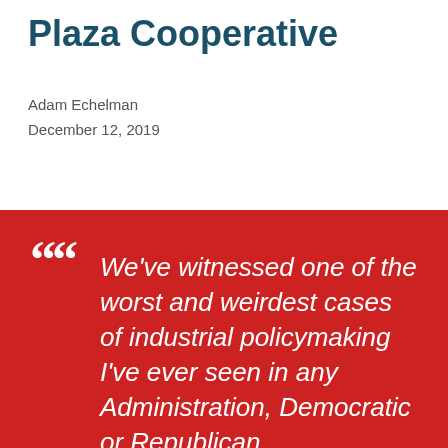Plaza Cooperative
Adam Echelman
December 12, 2019
[Figure (illustration): Red background pull quote box with large white italic text: 'We’ve witnessed one of the worst and weirdest cases of industrial policymaking I’ve ever seen in any Administration, Democratic or Republican.']